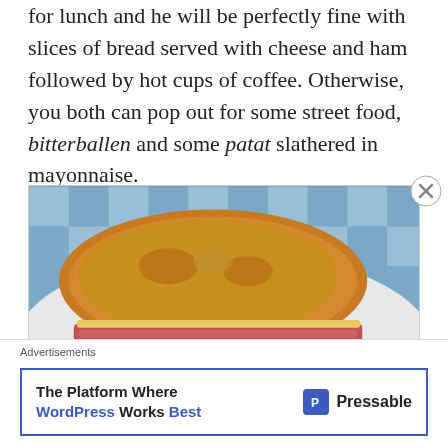for lunch and he will be perfectly fine with slices of bread served with cheese and ham followed by hot cups of coffee. Otherwise, you both can pop out for some street food, bitterballen and some patat slathered in mayonnaise.
[Figure (photo): A toasted ham and cheese sandwich cut in half and stacked on a white plate, with a blue and white checkered cloth in the background.]
Advertisements
The Platform Where WordPress Works Best — Pressable